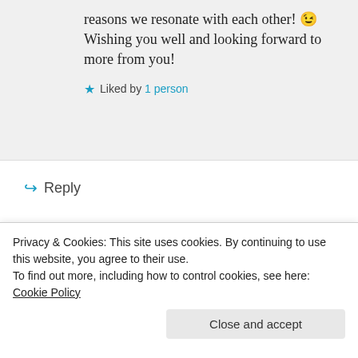reasons we resonate with each other! 😉 Wishing you well and looking forward to more from you!
★ Liked by 1 person
↳ Reply
Advertisements
[Figure (other): WooCommerce advertisement banner: purple background with WooCommerce logo, green arrow, text 'How to start selling subscriptions online', decorative orange and blue shapes on right side.]
REPORT THIS AD
Privacy & Cookies: This site uses cookies. By continuing to use this website, you agree to their use.
To find out more, including how to control cookies, see here: Cookie Policy
Close and accept